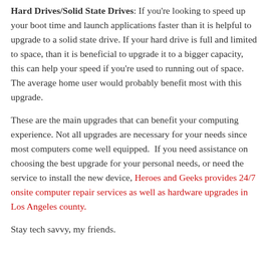Hard Drives/Solid State Drives: If you're looking to speed up your boot time and launch applications faster than it is helpful to upgrade to a solid state drive. If your hard drive is full and limited to space, than it is beneficial to upgrade it to a bigger capacity, this can help your speed if you're used to running out of space.  The average home user would probably benefit most with this upgrade.
These are the main upgrades that can benefit your computing experience. Not all upgrades are necessary for your needs since most computers come well equipped.  If you need assistance on choosing the best upgrade for your personal needs, or need the service to install the new device, Heroes and Geeks provides 24/7 onsite computer repair services as well as hardware upgrades in Los Angeles county.
Stay tech savvy, my friends.